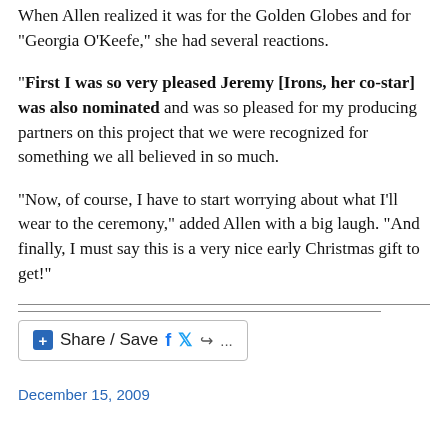When Allen realized it was for the Golden Globes and for “Georgia O’Keefe,” she had several reactions.
“First I was so very pleased Jeremy [Irons, her co-star] was also nominated and was so pleased for my producing partners on this project that we were recognized for something we all believed in so much.
“Now, of course, I have to start worrying about what I’ll wear to the ceremony,” added Allen with a big laugh. “And finally, I must say this is a very nice early Christmas gift to get!”
[Figure (other): Share/Save social media button with Facebook, Twitter, and share icons]
December 15, 2009